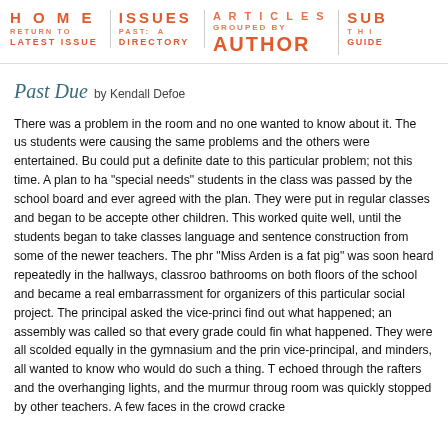HOME RETURN TO LATEST ISSUE | ISSUES PAST: A DIRECTORY | ARTICLES GROUPED BY AUTHOR | SUB- THI- GUIDE-
Past Due by Kendall Defoe
There was a problem in the room and no one wanted to know about it. The us- students were causing the same problems and the others were entertained. Bu- could put a definite date to this particular problem; not this time. A plan to ha- "special needs" students in the class was passed by the school board and ever- agreed with the plan. They were put in regular classes and began to be accepte- other children. This worked quite well, until the students began to take classes language and sentence construction from some of the newer teachers. The phr- "Miss Arden is a fat pig" was soon heard repeatedly in the hallways, classroo- bathrooms on both floors of the school and became a real embarrassment for organizers of this particular social project. The principal asked the vice-princi- find out what happened; an assembly was called so that every grade could fin- what happened. They were all scolded equally in the gymnasium and the prin- vice-principal, and minders, all wanted to know who would do such a thing. T- echoed through the rafters and the overhanging lights, and the murmur throug- room was quickly stopped by other teachers. A few faces in the crowd cracke-